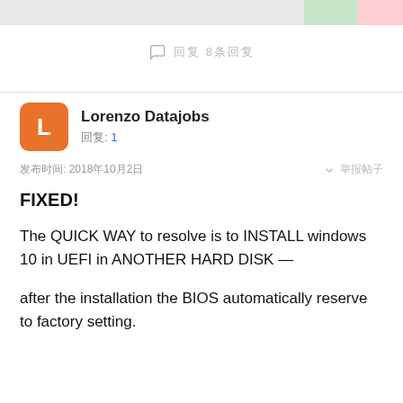回复 8条回复
发布时间: 2018年10月2日
FIXED!
The QUICK WAY to resolve is to INSTALL windows 10 in UEFI in ANOTHER HARD DISK —
after the installation the BIOS automatically reserve to factory setting.